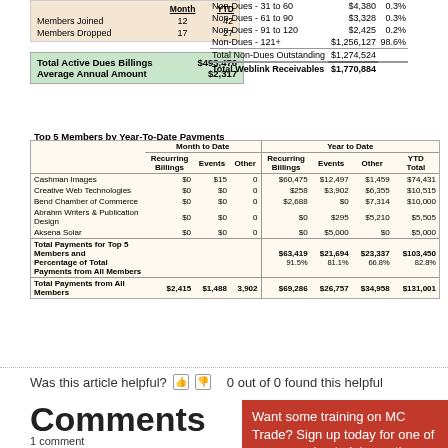|  | Month | YTD |
| --- | --- | --- |
| Members Joined | 12 | 42 |
| Members Dropped | 17 | 27 |
|  |  |
| --- | --- |
| Total Active Dues Billings | $493,476 |
| Average Annual Amount | $2,317 |
|  |  |  |
| --- | --- | --- |
| Non-Dues - 31 to 60 | $4,380 | 0.3% |
| Non-Dues - 61 to 90 | $3,328 | 0.3% |
| Non-Dues - 91 to 120 | $2,425 | 0.2% |
| Non-Dues - 121+ | $1,256,127 | 98.6% |
| Total Non-Dues Outstanding | $1,274,524 |  |
| Total Weblink Receivables | $1,770,884 |  |
Top 5 Members by Year-To-Date Payments
|  | Recurring Billings | Events | Other | | | Recurring Billings | Events | Other | YTD Total |
| --- | --- | --- | --- | --- | --- | --- | --- | --- |
| Cashman Images | $0 | $15 | 0 |  | $60,475 | $12,497 | $1,459 | $74,431 |
| Creative Web Technologies | $0 | $0 | 0 |  | $258 | $3,902 | $6,355 | $10,515 |
| Bend Chamber of Commerce | $0 | $0 | 0 |  | $2,688 | $0 | $7,314 | $10,000 |
| Abrahm Writers & Publication Design | $0 | $0 | 0 |  | $0 | $295 | $5,210 | $5,505 |
| Aksena Solar | $0 | $0 | 0 |  | $0 | $5,000 | $0 | $5,000 |
| Total Payments for Top 5 Members and Percentage of Total Payments from All Members |  |  |  |  | $63,419 91.5% | $21,694 81.1% | $23,337 66.8% | $103,450 82.8% |
| Total Payments from All Members | $2,415 | $1,488 | 3,902 |  | $69,286 | $26,757 | $34,958 | $131,001 |
Was this article helpful?
0 out of 0 found this helpful
Comments
1 comment
Want some training on MC Trade? Sign up today for one of our upcoming training options.